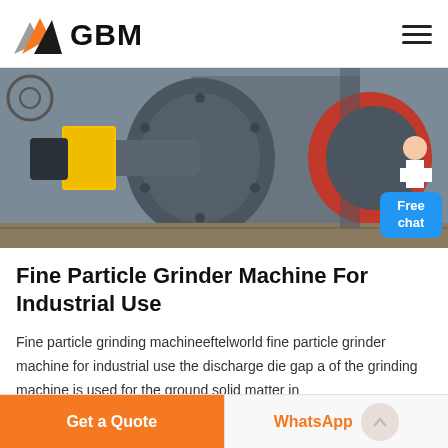GBM
[Figure (photo): Industrial grinder machine showing large cylindrical drum components, a yellow motor housing, and a red coupling flange. A customer service representative figure and a blue 'Free chat' button are overlaid in the bottom-right corner.]
Fine Particle Grinder Machine For Industrial Use
Fine particle grinding machineeftelworld fine particle grinder machine for industrial use the discharge die gap a of the grinding machine is used for the ground solid matter in